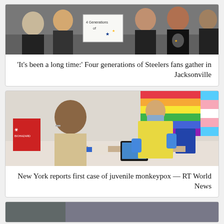[Figure (photo): Group of people including older and younger individuals, some wearing black t-shirts, one holding a sign reading '4 Generations of...' with blue and yellow star decorations]
‘It’s been a long time:’ Four generations of Steelers fans gather in Jacksonville
[Figure (photo): Medical scene: a person seated wearing a mask faces a healthcare worker in yellow PPE gown and blue gloves. A biohazard bag is visible on the left. Rainbow and transgender pride flags hang in the background. A tablet and medical equipment are on the desk.]
New York reports first case of juvenile monkeypox — RT World News
[Figure (photo): Partially visible third news card image at the bottom of the page, cropped]